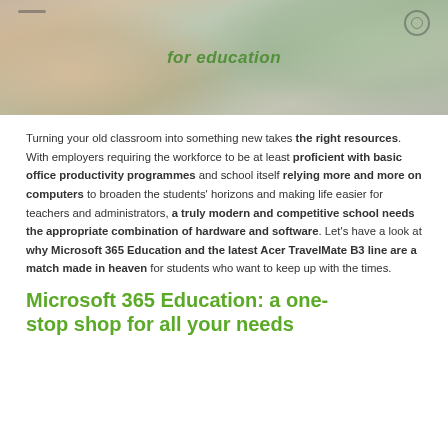[Figure (photo): Banner photo of a student using a tablet/device for education with text overlay 'for education' in green italic font]
Turning your old classroom into something new takes the right resources. With employers requiring the workforce to be at least proficient with basic office productivity programmes and school itself relying more and more on computers to broaden the students' horizons and making life easier for teachers and administrators, a truly modern and competitive school needs the appropriate combination of hardware and software. Let's have a look at why Microsoft 365 Education and the latest Acer TravelMate B3 line are a match made in heaven for students who want to keep up with the times.
Microsoft 365 Education: a one-stop shop for all your needs